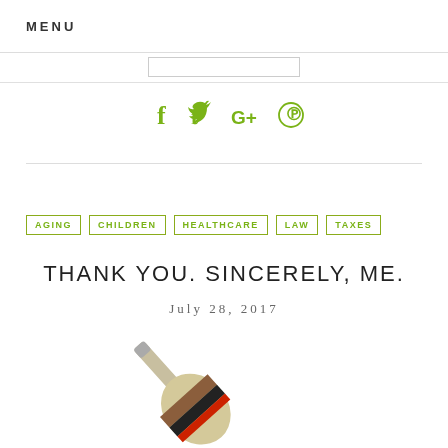MENU
[Figure (screenshot): Search bar input box]
[Figure (illustration): Social media icons: f (Facebook), Twitter bird, G+, Pinterest]
AGING   CHILDREN   HEALTHCARE   LAW   TAXES
THANK YOU. SINCERELY, ME.
July 28, 2017
[Figure (illustration): Wine bottle lying diagonally, partially visible, with brown, black, and red label details]